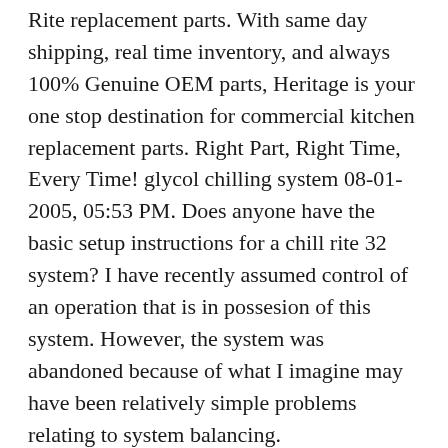Rite replacement parts. With same day shipping, real time inventory, and always 100% Genuine OEM parts, Heritage is your one stop destination for commercial kitchen replacement parts. Right Part, Right Time, Every Time! glycol chilling system 08-01-2005, 05:53 PM. Does anyone have the basic setup instructions for a chill rite 32 system? I have recently assumed control of an operation that is in possesion of this system. However, the system was abandoned because of what I imagine may have been relatively simple problems relating to system balancing.
Nov 16, 2013В В· Who Is Chill-Rite 32 BEER SYSTEMS and WhatвЂ™s Their Story? Located in Slidell, LA, Chill-Rite Manufacturing is a family-